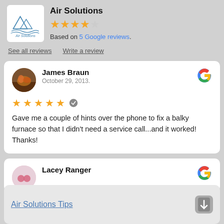[Figure (logo): Air Solutions company logo with mountain/wave design]
Air Solutions
[Figure (other): 4 out of 5 stars rating]
Based on 5 Google reviews.
See all reviews   Write a review
James Braun
October 29, 2013.
★★★★★
Gave me a couple of hints over the phone to fix a balky furnace so that I didn't need a service call...and it worked! Thanks!
Lacey Ranger
Air Solutions Tips